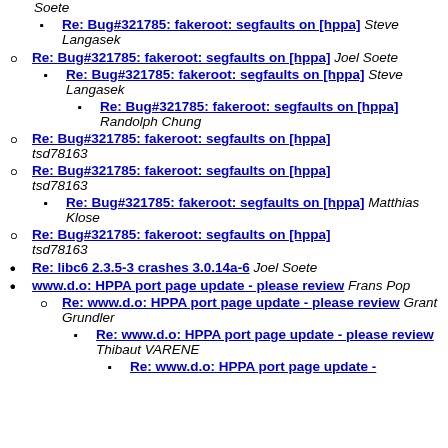Soete (italic, top partial)
Re: Bug#321785: fakeroot: segfaults on [hppa] Steve Langasek (level 3)
Re: Bug#321785: fakeroot: segfaults on [hppa] Joel Soete (level 2)
Re: Bug#321785: fakeroot: segfaults on [hppa] Steve Langasek (level 3)
Re: Bug#321785: fakeroot: segfaults on [hppa] Randolph Chung (level 4)
Re: Bug#321785: fakeroot: segfaults on [hppa] tsd78163 (level 2)
Re: Bug#321785: fakeroot: segfaults on [hppa] tsd78163 (level 2)
Re: Bug#321785: fakeroot: segfaults on [hppa] Matthias Klose (level 3)
Re: Bug#321785: fakeroot: segfaults on [hppa] tsd78163 (level 2)
Re: libc6 2.3.5-3 crashes 3.0.14a-6 Joel Soete (level 1)
www.d.o: HPPA port page update - please review Frans Pop (level 1)
Re: www.d.o: HPPA port page update - please review Grant Grundler (level 2)
Re: www.d.o: HPPA port page update - please review Thibaut VARENE (level 3)
Re: www.d.o: HPPA port page update - (level 4, partial)